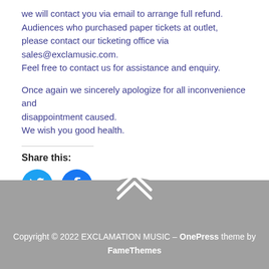we will contact you via email to arrange full refund.
Audiences who purchased paper tickets at outlet,
please contact our ticketing office via sales@exclamusic.com.
Feel free to contact us for assistance and enquiry.
Once again we sincerely apologize for all inconvenience and disappointment caused.
We wish you good health.
Share this:
[Figure (other): Twitter and Facebook social share icon buttons (circular blue icons)]
Copyright © 2022 EXCLAMATION MUSIC – OnePress theme by FameThemes